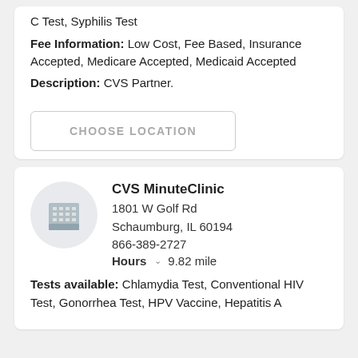C Test, Syphilis Test
Fee Information: Low Cost, Fee Based, Insurance Accepted, Medicare Accepted, Medicaid Accepted
Description: CVS Partner.
CHOOSE LOCATION
CVS MinuteClinic
1801 W Golf Rd
Schaumburg, IL 60194
866-389-2727
Hours  9.82 mile
Tests available: Chlamydia Test, Conventional HIV Test, Gonorrhea Test, HPV Vaccine, Hepatitis A